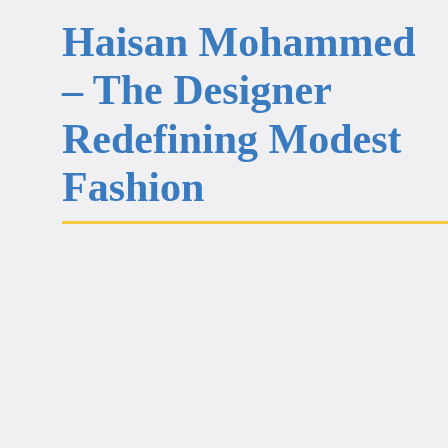Haisan Mohammed – The Designer Redefining Modest Fashion